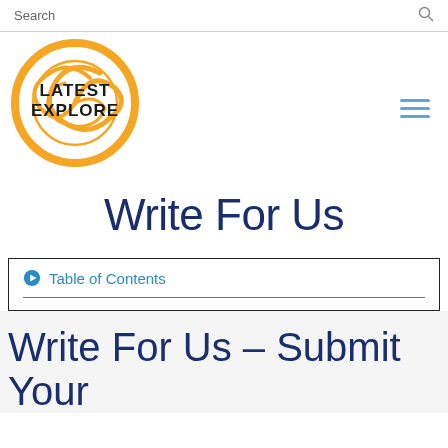Search
[Figure (logo): Latest Explore logo — orange swirl circle with 'LATEST EXPLORE' text in black hand-drawn font]
Write For Us
Table of Contents
Write For Us – Submit Your